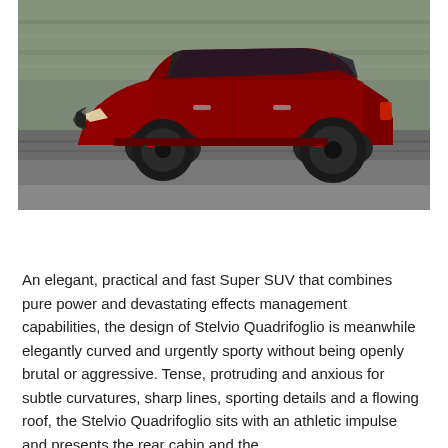[Figure (photo): A red Alfa Romeo Stelvio Quadrifoglio SUV driving at speed on a racetrack, photographed from the side. Motion blur visible in the background. The car is dark red/maroon with black alloy wheels.]
An elegant, practical and fast Super SUV that combines pure power and devastating effects management capabilities, the design of Stelvio Quadrifoglio is meanwhile elegantly curved and urgently sporty without being openly brutal or aggressive. Tense, protruding and anxious for subtle curvatures, sharp lines, sporting details and a flowing roof, the Stelvio Quadrifoglio sits with an athletic impulse and presents the rear cabin and the